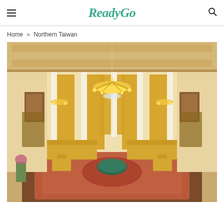ReadyGo
Home » Northern Taiwan
[Figure (photo): Ornate grand ballroom interior with gold chandeliers, yellow drapery, gilded white walls, yellow upholstered furniture arranged on a decorative red rug, viewed from above.]